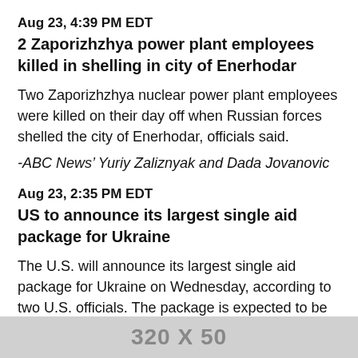Aug 23, 4:39 PM EDT
2 Zaporizhzhya power plant employees killed in shelling in city of Enerhodar
Two Zaporizhzhya nuclear power plant employees were killed on their day off when Russian forces shelled the city of Enerhodar, officials said.
-ABC News’ Yuriy Zaliznyak and Dada Jovanovic
Aug 23, 2:35 PM EDT
US to announce its largest single aid package for Ukraine
The U.S. will announce its largest single aid package for Ukraine on Wednesday, according to two U.S. officials. The package is expected to be valued at roughly $3 billion -- though one official told ABC News some changes could be made overnight, and $3 billion is on the higher end of the estimates.
A seni will come
[Figure (other): Advertisement banner showing '320 X 50']